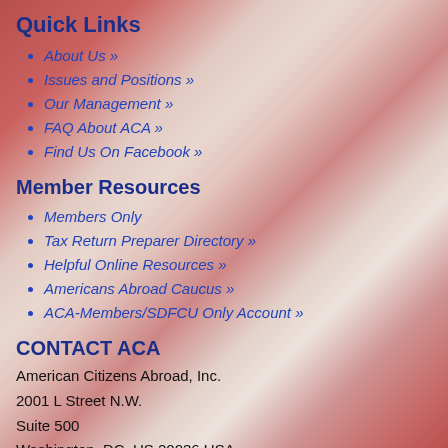Quick Links
About Us »
Issues and Positions »
Our Management »
FAQ About ACA »
Find Us On Facebook »
Member Resources
Members Only
Tax Return Preparer Directory »
Helpful Online Resources »
Americans Abroad Caucus »
ACA-Members/SDFCU Only Account »
CONTACT ACA
American Citizens Abroad, Inc.
2001 L Street N.W.
Suite 500
Washington, DC, US 20036 USA